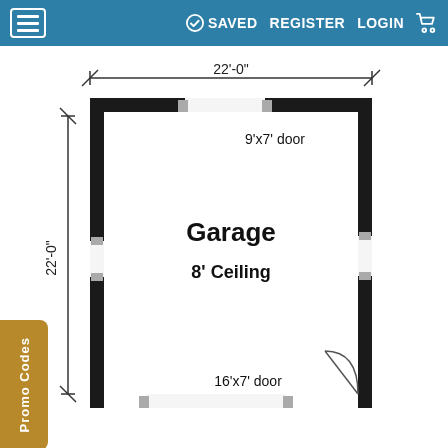☰  SAVED  REGISTER  LOGIN  🛒
[Figure (engineering-diagram): Floor plan of a 22x22 foot garage with a 9x7 foot door at the top, a 16x7 foot door at the bottom, a door swing at the bottom-right corner, and windows/openings on the sides. Interior labeled 'Garage' and '8' Ceiling'. Dimension lines show 22'-0" width and 22'-0" height.]
Promo Codes